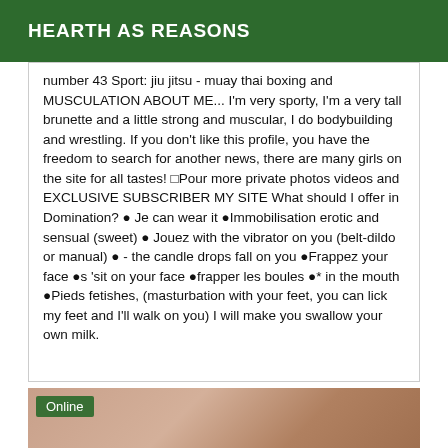HEARTH AS REASONS
number 43 Sport: jiu jitsu - muay thai boxing and MUSCULATION ABOUT ME... I'm very sporty, I'm a very tall brunette and a little strong and muscular, I do bodybuilding and wrestling. If you don't like this profile, you have the freedom to search for another news, there are many girls on the site for all tastes! □Pour more private photos videos and EXCLUSIVE SUBSCRIBER MY SITE What should I offer in Domination? ● Je can wear it ●Immobilisation erotic and sensual (sweet) ● Jouez with the vibrator on you (belt-dildo or manual) ● - the candle drops fall on you ●Frappez your face ●s 'sit on your face ●frapper les boules ●* in the mouth ●Pieds fetishes, (masturbation with your feet, you can lick my feet and I'll walk on you) I will make you swallow your own milk.
[Figure (photo): Photo strip at bottom with Online badge overlay]